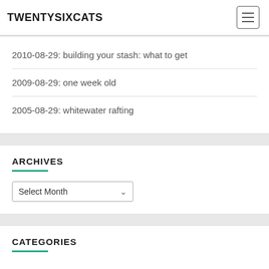TWENTYSIXCATS
2010-08-29: building your stash: what to get
2009-08-29: one week old
2005-08-29: whitewater rafting
ARCHIVES
Select Month
CATEGORIES